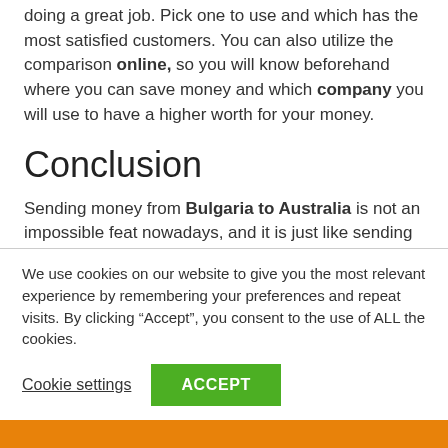doing a great job. Pick one to use and which has the most satisfied customers. You can also utilize the comparison online, so you will know beforehand where you can save money and which company you will use to have a higher worth for your money.
Conclusion
Sending money from Bulgaria to Australia is not an impossible feat nowadays, and it is just like sending from other parts of the world. Money remittance company has their presence around the globe, just like popular banks do. The key is finding the company or bank that will be
We use cookies on our website to give you the most relevant experience by remembering your preferences and repeat visits. By clicking “Accept”, you consent to the use of ALL the cookies.
Cookie settings   ACCEPT